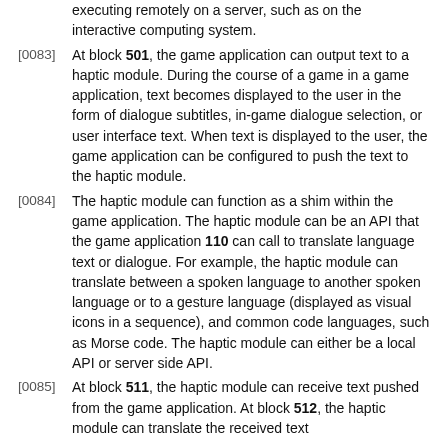executing remotely on a server, such as on the interactive computing system.
[0083] At block 501, the game application can output text to a haptic module. During the course of a game in a game application, text becomes displayed to the user in the form of dialogue subtitles, in-game dialogue selection, or user interface text. When text is displayed to the user, the game application can be configured to push the text to the haptic module.
[0084] The haptic module can function as a shim within the game application. The haptic module can be an API that the game application 110 can call to translate language text or dialogue. For example, the haptic module can translate between a spoken language to another spoken language or to a gesture language (displayed as visual icons in a sequence), and common code languages, such as Morse code. The haptic module can either be a local API or server side API.
[0085] At block 511, the haptic module can receive text pushed from the game application. At block 512, the haptic module can translate the received text